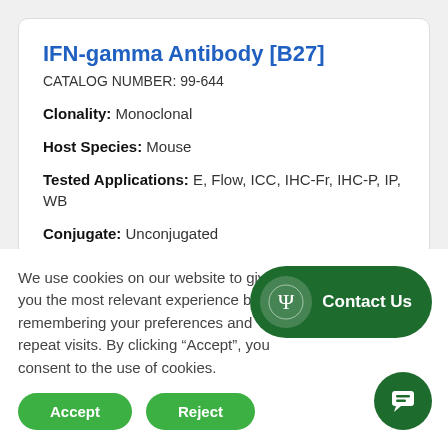IFN-gamma Antibody [B27]
CATALOG NUMBER: 99-644
Clonality: Monoclonal
Host Species: Mouse
Tested Applications: E, Flow, ICC, IHC-Fr, IHC-P, IP, WB
Conjugate: Unconjugated
We use cookies on our website to give you the most relevant experience by remembering your preferences and repeat visits. By clicking “Accept”, you consent to the use of cookies.
Accept
Reject
Contact Us